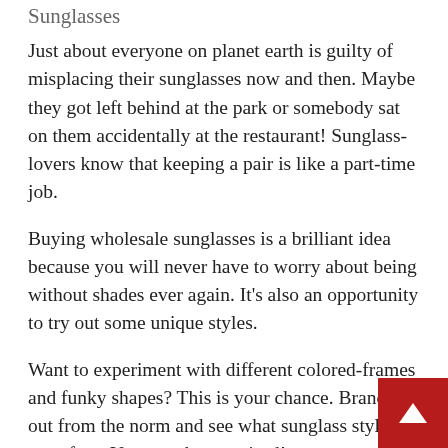Sunglasses
Just about everyone on planet earth is guilty of misplacing their sunglasses now and then. Maybe they got left behind at the park or somebody sat on them accidentally at the restaurant! Sunglass-lovers know that keeping a pair is like a part-time job.
Buying wholesale sunglasses is a brilliant idea because you will never have to worry about being without shades ever again. It's also an opportunity to try out some unique styles.
Want to experiment with different colored-frames and funky shapes? This is your chance. Branch out from the norm and see what sunglass styles fit your face. You may be surprised!
T-Shirts